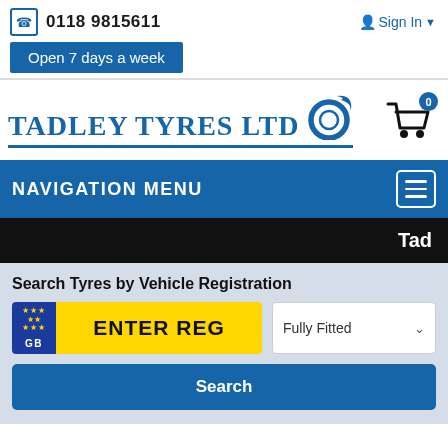0118 9815611  Sign In
Open 7 days a week
[Figure (logo): Tadley Tyres Ltd logo with tyre graphic and shopping cart with 0 badge]
NAVIGATION MENU
Tad
Search Tyres by Vehicle Registration
ENTER REG   Fully Fitted
Search